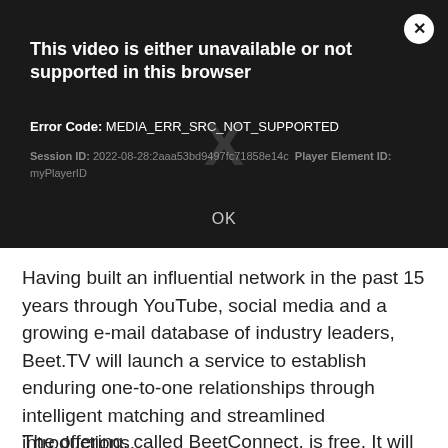[Figure (screenshot): Video player error dialog on a dark background. Title: 'This video is either unavailable or not supported in this browser'. Error Code: MEDIA_ERR_SRC_NOT_SUPPORTED. Session ID: 2022-08-28:2aaa53bd9497fc71858e14c Player Element ID: myPlayerID. An OK button at bottom center. A white circular close button (×) in the top right corner. A large faded X watermark in the center.]
Having built an influential network in the past 15 years through YouTube, social media and a growing e-mail database of industry leaders, Beet.TV will launch a service to establish enduring one-to-one relationships through intelligent matching and streamlined introductions.
The offering, called BeetConnect, is free. It will be